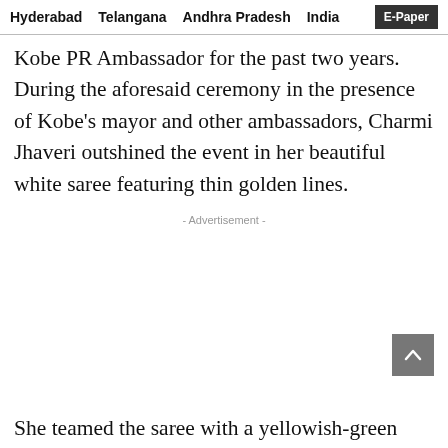Hyderabad   Telangana   Andhra Pradesh   India   E-Paper
Kobe PR Ambassador for the past two years. During the aforesaid ceremony in the presence of Kobe’s mayor and other ambassadors, Charmi Jhaveri outshined the event in her beautiful white saree featuring thin golden lines.
- Advertisement -
She teamed the saree with a yellowish-green